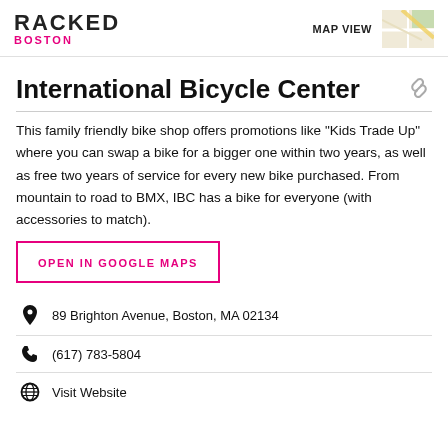RACKED BOSTON
International Bicycle Center
This family friendly bike shop offers promotions like "Kids Trade Up" where you can swap a bike for a bigger one within two years, as well as free two years of service for every new bike purchased. From mountain to road to BMX, IBC has a bike for everyone (with accessories to match).
OPEN IN GOOGLE MAPS
89 Brighton Avenue, Boston, MA 02134
(617) 783-5804
Visit Website